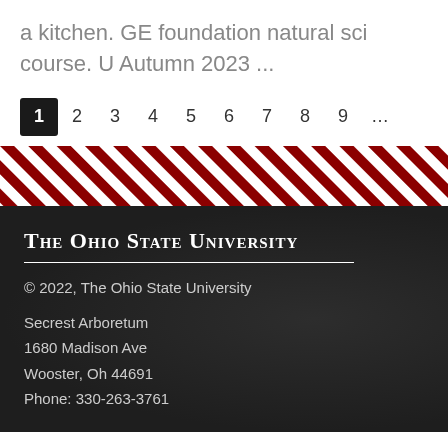a kitchen. GE foundation natural sci course. U Autumn 2023 ...
1 2 3 4 5 6 7 8 9 ...
[Figure (illustration): Diagonal red and white stripe band pattern]
THE OHIO STATE UNIVERSITY
© 2022, The Ohio State University
Secrest Arboretum
1680 Madison Ave
Wooster, Oh 44691
Phone: 330-263-3761